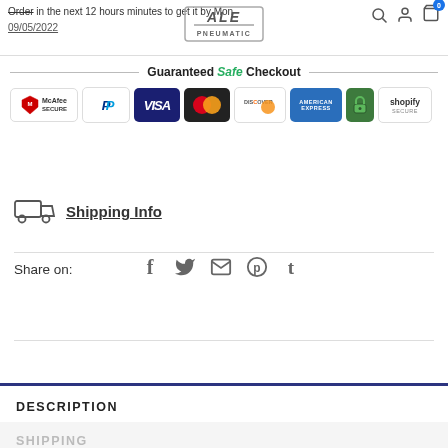Order in the next 12 hours minutes to get it by 09/05/2022
[Figure (logo): ALE Pneumatic company logo]
[Figure (infographic): Guaranteed Safe Checkout banner with payment icons: McAfee Secure, PayPal, Visa, Mastercard, Discover, American Express, lock icon, Shopify Secure]
Shipping Info
Share on:
[Figure (infographic): Social share icons: Facebook, Twitter, Email, Pinterest, Tumblr]
DESCRIPTION
SHIPPING